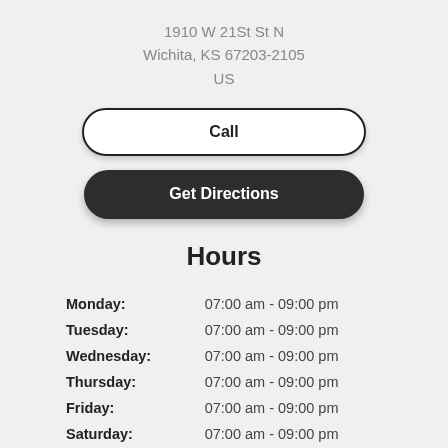1910 W 21St St N
Wichita, KS 67203-2105
US
Call
Get Directions
Hours
| Day | Hours |
| --- | --- |
| Monday: | 07:00 am - 09:00 pm |
| Tuesday: | 07:00 am - 09:00 pm |
| Wednesday: | 07:00 am - 09:00 pm |
| Thursday: | 07:00 am - 09:00 pm |
| Friday: | 07:00 am - 09:00 pm |
| Saturday: | 07:00 am - 09:00 pm |